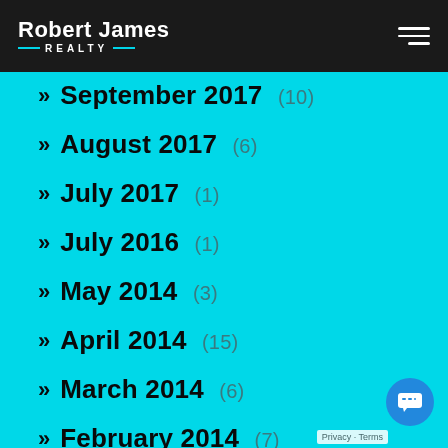Robert James Realty
September 2017 (10)
August 2017 (6)
July 2017 (1)
July 2016 (1)
May 2014 (3)
April 2014 (15)
March 2014 (6)
February 2014 (7)